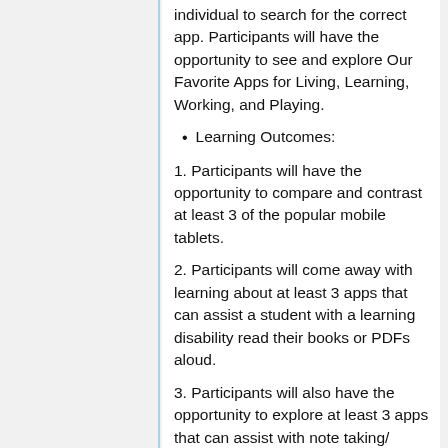individual to search for the correct app. Participants will have the opportunity to see and explore Our Favorite Apps for Living, Learning, Working, and Playing.
Learning Outcomes:
1. Participants will have the opportunity to compare and contrast at least 3 of the popular mobile tablets.
2. Participants will come away with learning about at least 3 apps that can assist a student with a learning disability read their books or PDFs aloud.
3. Participants will also have the opportunity to explore at least 3 apps that can assist with note taking/ organization.
Resources For You!